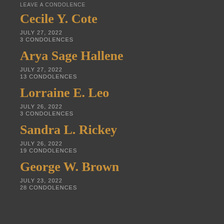LEAVE A CONDOLENCE
Cecile Y. Cote
JULY 27, 2022
3 CONDOLENCES
Arya Sage Hallene
JULY 27, 2022
13 CONDOLENCES
Lorraine E. Leo
JULY 26, 2022
3 CONDOLENCES
Sandra L. Rickey
JULY 26, 2022
19 CONDOLENCES
George W. Brown
JULY 23, 2022
28 CONDOLENCES